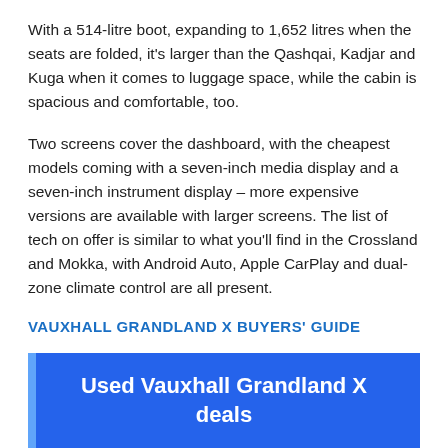With a 514-litre boot, expanding to 1,652 litres when the seats are folded, it's larger than the Qashqai, Kadjar and Kuga when it comes to luggage space, while the cabin is spacious and comfortable, too.
Two screens cover the dashboard, with the cheapest models coming with a seven-inch media display and a seven-inch instrument display – more expensive versions are available with larger screens. The list of tech on offer is similar to what you'll find in the Crossland and Mokka, with Android Auto, Apple CarPlay and dual-zone climate control are all present.
VAUXHALL GRANDLAND X BUYERS' GUIDE
Used Vauxhall Grandland X deals